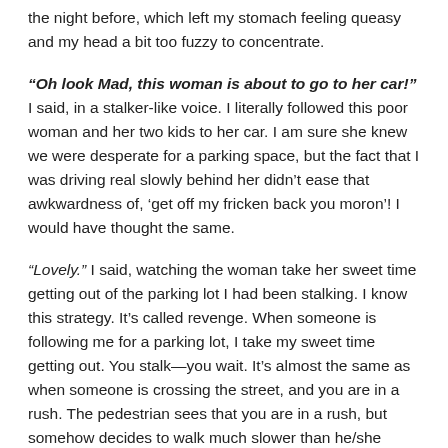the night before, which left my stomach feeling queasy and my head a bit too fuzzy to concentrate.
“Oh look Mad, this woman is about to go to her car!” I said, in a stalker-like voice. I literally followed this poor woman and her two kids to her car. I am sure she knew we were desperate for a parking space, but the fact that I was driving real slowly behind her didn’t ease that awkwardness of, ‘get off my fricken back you moron’! I would have thought the same.
“Lovely.” I said, watching the woman take her sweet time getting out of the parking lot I had been stalking. I know this strategy. It’s called revenge. When someone is following me for a parking lot, I take my sweet time getting out. You stalk—you wait. It’s almost the same as when someone is crossing the street, and you are in a rush. The pedestrian sees that you are in a rush, but somehow decides to walk much slower than he/she would have, if you weren’t in such a hurry. Everybody on the street in an enemy. Road rage happens all the time.